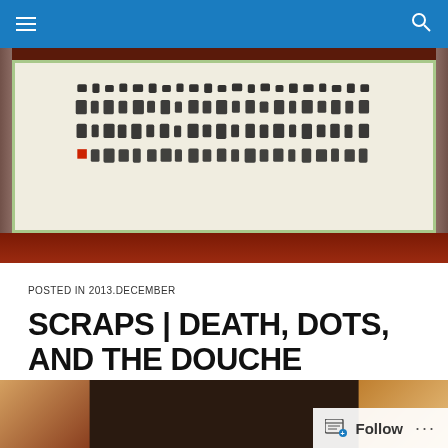Navigation bar with menu and search icons
[Figure (photo): Chinese calligraphy scroll on white paper with rows of black ink characters, displayed on a dark red wooden surface with light green border framing. Red seal stamp visible at lower left of scroll.]
POSTED IN 2013.DECEMBER
SCRAPS | DEATH, DOTS, AND THE DOUCHE
[Figure (photo): Partial thumbnail image at bottom of page, dark warm-toned interior photograph, partially visible.]